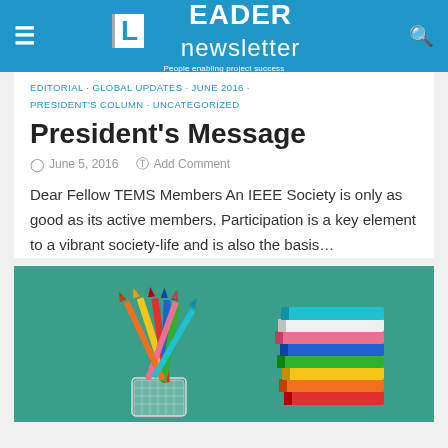LEADER newsletter — People enabling project success
EDITORIAL · GLOBAL UPDATES · JUNE 2016 · PRESIDENT'S COLUMN · UNCATEGORIZED
President's Message
June 5, 2016   Add Comment
Dear Fellow TEMS Members An IEEE Society is only as good as its active members. Participation is a key element to a vibrant society-life and is also the basis…
[Figure (photo): Photo of colorful pencils in a white mesh cup holder and a stack of colorful books on a teal/green background]